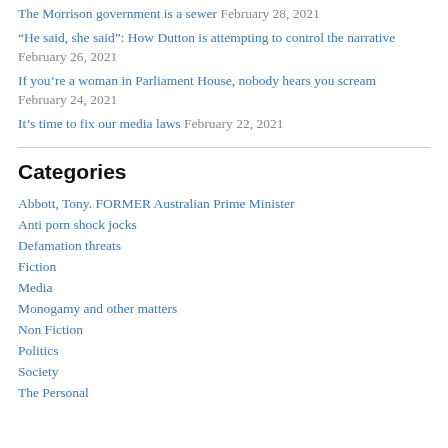The Morrison government is a sewer February 28, 2021
“He said, she said”: How Dutton is attempting to control the narrative February 26, 2021
If you’re a woman in Parliament House, nobody hears you scream February 24, 2021
It’s time to fix our media laws February 22, 2021
Categories
Abbott, Tony. FORMER Australian Prime Minister
Anti porn shock jocks
Defamation threats
Fiction
Media
Monogamy and other matters
Non Fiction
Politics
Society
The Personal